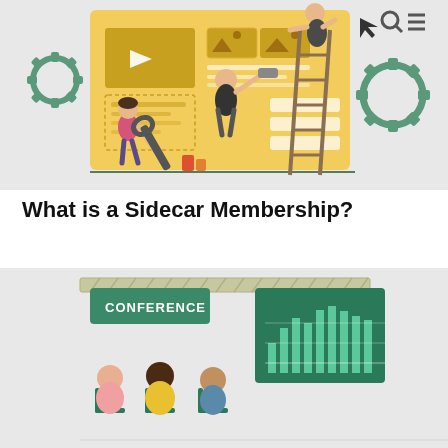[Figure (illustration): Flat design illustration showing people building/editing a website. Features a large yellow interface panel with video player, image placeholders, text boxes, and UI elements. A woman in pink uses a wrench, a man in black uses a paint roller, and another figure stands on a ladder. Teal gear icons flank the composition on a light gray background.]
What is a Sidecar Membership?
[Figure (illustration): Flat design illustration of a conference presentation. A speaker in a yellow shirt stands at a dark green podium gesturing toward a green banner showing a bar chart. A 'CONFERENCE' sign hangs above. Several audience members are seated in teal chairs with their backs to the viewer, on a light gray background.]